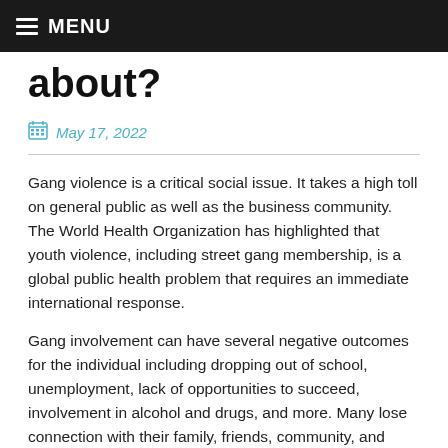MENU
about?
May 17, 2022
Gang violence is a critical social issue. It takes a high toll on general public as well as the business community. The World Health Organization has highlighted that youth violence, including street gang membership, is a global public health problem that requires an immediate international response.
Gang involvement can have several negative outcomes for the individual including dropping out of school, unemployment, lack of opportunities to succeed, involvement in alcohol and drugs, and more. Many lose connection with their family, friends, community, and school.